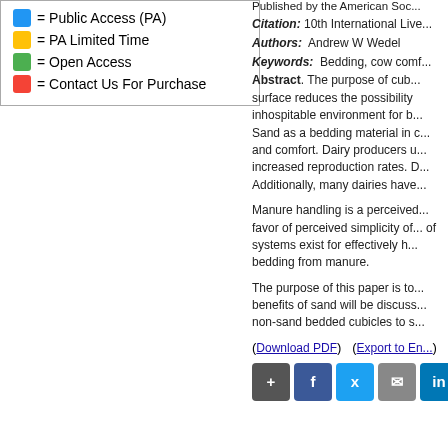= Public Access (PA)
= PA Limited Time
= Open Access
= Contact Us For Purchase
Published by the American Soc...
Citation: 10th International Live...
Authors: Andrew W Wedel
Keywords: Bedding, cow comf...
Abstract. The purpose of cub... Sand as a bedding material in c... and comfort. Dairy producers u... increased reproduction rates. D... Additionally, many dairies have...
Manure handling is a perceived... favor of perceived simplicity of... of systems exist for effectively b... bedding from manure.
The purpose of this paper is to... benefits of sand will be discuss... non-sand bedded cubicles to s...
(Download PDF)   (Export to En...)